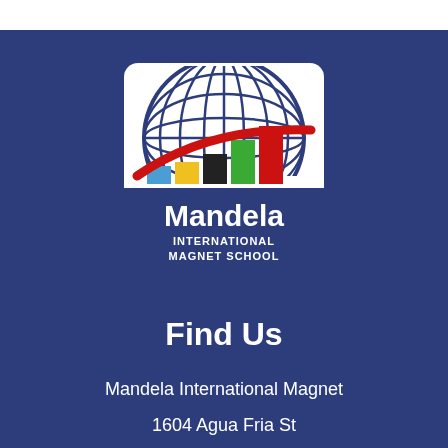[Figure (logo): Mandela International Magnet School logo: globe with meridian/latitude lines, colored bar chart beneath globe overlaid with red swoosh, blue banner with 'Mandela' in white and 'INTERNATIONAL MAGNET SCHOOL' text]
Find Us
Mandela International Magnet
1604 Agua Fria St
Santa Fe, New Mexico 87505
(505) 467-1901